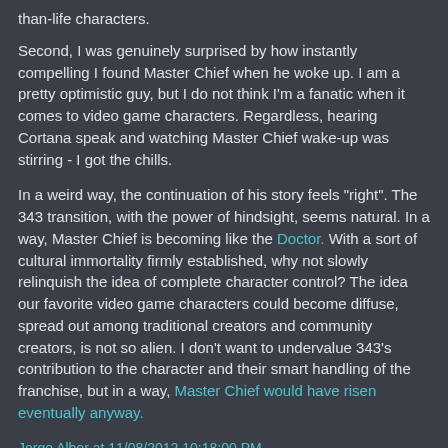than-life characters.
Second, I was genuinely surprised by how instantly compelling I found Master Chief when he woke up. I am a pretty optimistic guy, but I do not think I'm a fanatic when it comes to video game characters. Regardless, hearing Cortana speak and watching Master Chief wake-up was stirring - I got the chills.
In a weird way, the continuation of his story feels "right". The 343 transition, with the power of hindsight, seems natural. In a way, Master Chief is becoming like the Doctor. With a sort of cultural immortality firmly established, why not slowly relinquish the idea of complete character control? The idea our favorite video game characters could become diffuse, spread out among traditional creators and community creators, is not so alien. I don't want to undervalue 343's contribution to the character and their smart handling of the franchise, but in a way, Master Chief would have risen eventually anyway.
Jorge Albor at 11/08/2012 10:18:00 PM